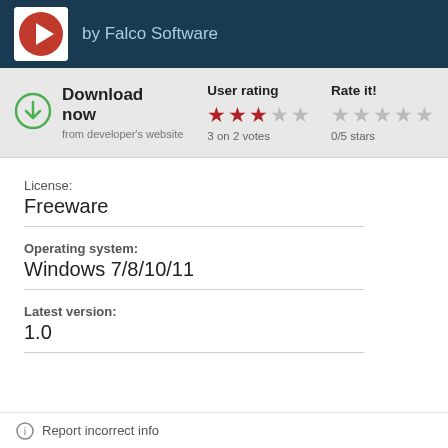by Falco Software
Download now
from developer's website
User rating
3 on 2 votes
Rate it!
0/5 stars
License:
Freeware
Operating system:
Windows 7/8/10/11
Latest version:
1.0
Report incorrect info